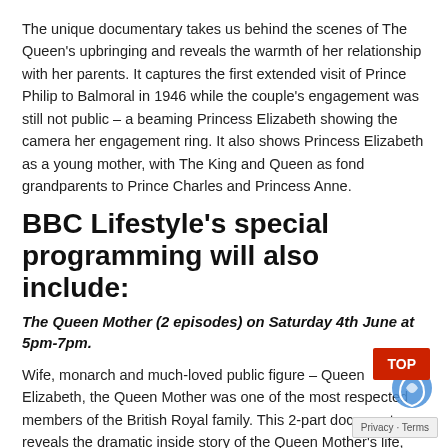The unique documentary takes us behind the scenes of The Queen's upbringing and reveals the warmth of her relationship with her parents. It captures the first extended visit of Prince Philip to Balmoral in 1946 while the couple's engagement was still not public – a beaming Princess Elizabeth showing the camera her engagement ring. It also shows Princess Elizabeth as a young mother, with The King and Queen as fond grandparents to Prince Charles and Princess Anne.
BBC Lifestyle's special programming will also include:
The Queen Mother (2 episodes) on Saturday 4th June at 5pm-7pm.
Wife, monarch and much-loved public figure – Queen Elizabeth, the Queen Mother was one of the most respected members of the British Royal family. This 2-part documentary reveals the dramatic inside story of the Queen Mother's life, highlighting the moments of pain and upheaval that ultimately defined her legacy.